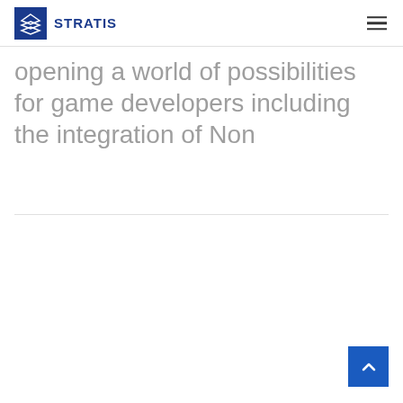STRATIS
opening a world of possibilities for game developers including the integration of Non